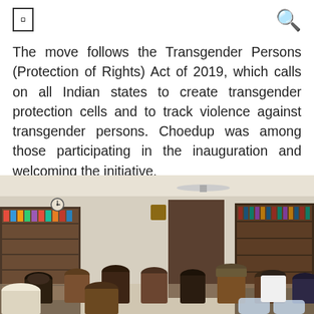☰  🔍
The move follows the Transgender Persons (Protection of Rights) Act of 2019, which calls on all Indian states to create transgender protection cells and to track violence against transgender persons. Choedup was among those participating in the inauguration and welcoming the initiative.
[Figure (photo): Group of people sitting in chairs in a room with bookshelves, attending a meeting or event. A clock is visible on the wall, and there is a ceiling fan. The room resembles a library or community hall.]